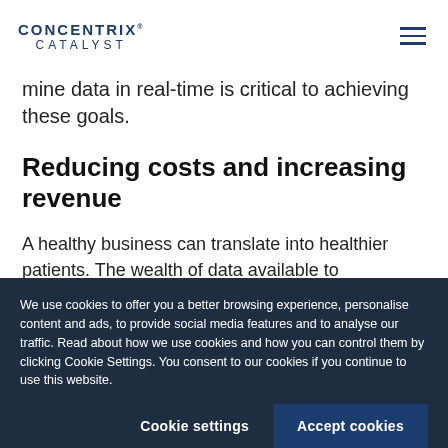CONCENTRIX CATALYST
mine data in real-time is critical to achieving these goals.
Reducing costs and increasing revenue
A healthy business can translate into healthier patients. The wealth of data available to healthcare providers can be used to track
We use cookies to offer you a better browsing experience, personalise content and ads, to provide social media features and to analyse our traffic. Read about how we use cookies and how you can control them by clicking Cookie Settings. You consent to our cookies if you continue to use this website.
Cookie settings    Accept cookies